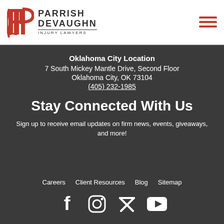Parrish DeVaughn Injury Lawyers
Oklahoma City Location
7 South Mickey Mantle Drive, Second Floor
Oklahoma City, OK 73104
(405) 232-1985
Stay Connected With Us
Sign up to receive email updates on firm news, events, giveaways, and more!
Careers  Client Resources  Blog  Sitemap
[Figure (illustration): Social media icons: Facebook, Instagram, Twitter, YouTube]